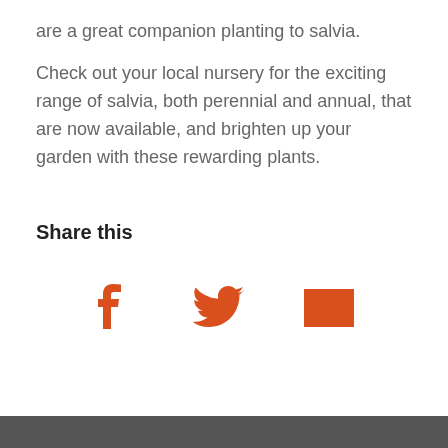are a great companion planting to salvia.
Check out your local nursery for the exciting range of salvia, both perennial and annual, that are now available, and brighten up your garden with these rewarding plants.
Share this
[Figure (infographic): Three social share icons in orange: Facebook (f), Twitter (bird), Email (envelope)]